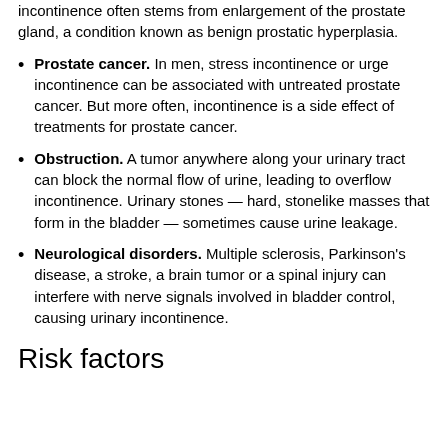incontinence often stems from enlargement of the prostate gland, a condition known as benign prostatic hyperplasia.
Prostate cancer. In men, stress incontinence or urge incontinence can be associated with untreated prostate cancer. But more often, incontinence is a side effect of treatments for prostate cancer.
Obstruction. A tumor anywhere along your urinary tract can block the normal flow of urine, leading to overflow incontinence. Urinary stones — hard, stonelike masses that form in the bladder — sometimes cause urine leakage.
Neurological disorders. Multiple sclerosis, Parkinson's disease, a stroke, a brain tumor or a spinal injury can interfere with nerve signals involved in bladder control, causing urinary incontinence.
Risk factors